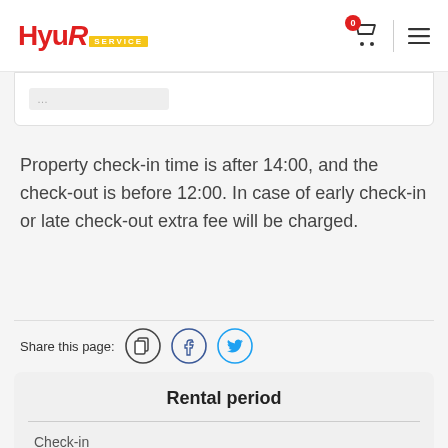Hyur Service — header with logo, cart icon (0), and menu icon
Property check-in time is after 14:00, and the check-out is before 12:00. In case of early check-in or late check-out extra fee will be charged.
Share this page:
Rental period
Check-in
Select